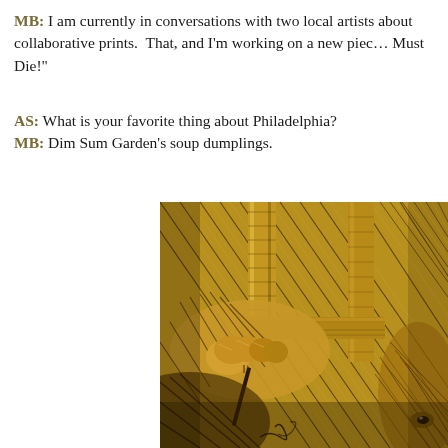MB: I am currently in conversations with two local artists about collaborative prints.  That, and I'm working on a new piece… Must Die!"
AS: What is your favorite thing about Philadelphia?
MB: Dim Sum Garden's soup dumplings.
[Figure (illustration): A detailed woodcut-style illustration in sepia/amber tones showing a hand gripping a tool (possibly a carving tool or pen) near wooden structures, with hatched line work suggesting hair or fur in the lower right, and diagonal hatching forming a background. The style resembles an engraving or linocut print.]